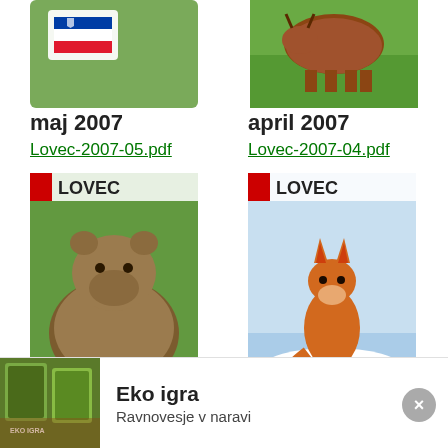[Figure (photo): Top left: thumbnail with Slovenian flag icon overlay on green background; Top right: photo of animal (likely cattle) on grass]
maj 2007
Lovec-2007-05.pdf
april 2007
Lovec-2007-04.pdf
[Figure (photo): Bottom left: Lovec magazine cover with brown bear; Bottom right: Lovec magazine cover with fox in snow]
marec 2007
Lovec-2007-03.pdf
februar 2007
Lovec-2007-02.pdf
Na naši spletni strani uporabljamo piškotke, da vam zagotovimo najustreznejšo uporabniško izkušnjo. S klikom na "Spreimi" soglašate z uporabo VSEH piškotkov.
[Figure (photo): Advertisement: Eko igra - Ravnovesje v naravi product image]
Eko igra
Ravnovesje v naravi